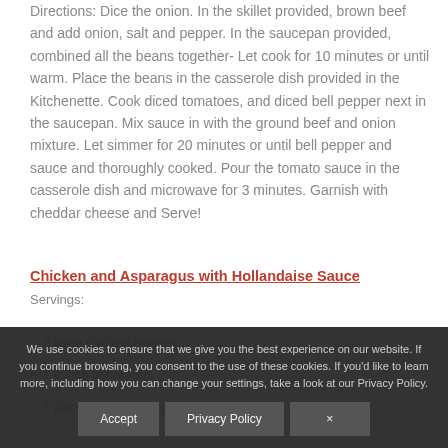Directions: Dice the onion. In the skillet provided, brown beef and add onion, salt and pepper. In the saucepan provided, combined all the beans together- Let cook for 10 minutes or until warm. Place the beans in the casserole dish provided in the Kitchenette. Cook diced tomatoes, and diced bell pepper next in the saucepan. Mix sauce in with the ground beef and onion mixture. Let simmer for 20 minutes or until bell pepper and sauce and thoroughly cooked. Pour the tomato sauce in the casserole dish and microwave for 3 minutes. Garnish with cheddar cheese and Serve!
Chicken and Asparagus with Hollandaise Sauce
Servings:
2 large chicken breasts
1 bunch asparagus
1 packet or instant hollandaise sauce